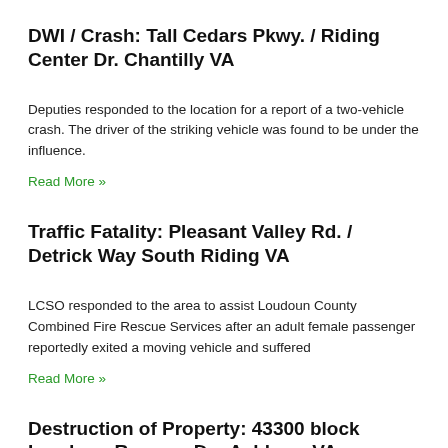DWI / Crash: Tall Cedars Pkwy. / Riding Center Dr. Chantilly VA
Deputies responded to the location for a report of a two-vehicle crash. The driver of the striking vehicle was found to be under the influence.
Read More »
Traffic Fatality: Pleasant Valley Rd. / Detrick Way South Riding VA
LCSO responded to the area to assist Loudoun County Combined Fire Rescue Services after an adult female passenger reportedly exited a moving vehicle and suffered
Read More »
Destruction of Property: 43300 block Loudoun Reserve Dr., Ashburn VA
A representative for the elementary school reported that a